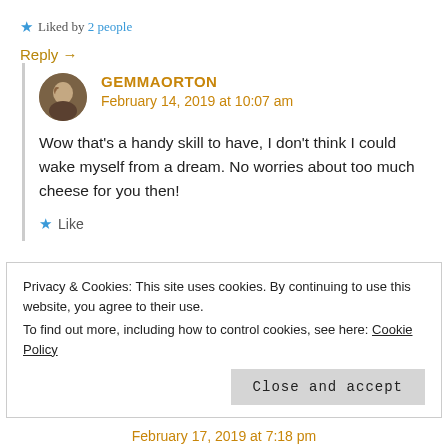★ Liked by 2 people
Reply →
GEMMAORTON
February 14, 2019 at 10:07 am
Wow that's a handy skill to have, I don't think I could wake myself from a dream. No worries about too much cheese for you then!
★ Like
Privacy & Cookies: This site uses cookies. By continuing to use this website, you agree to their use.
To find out more, including how to control cookies, see here: Cookie Policy
Close and accept
February 17, 2019 at 7:18 pm